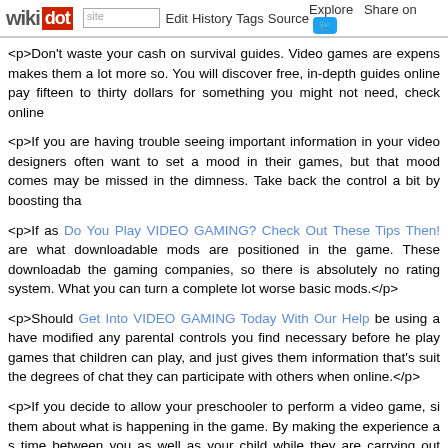wikidot | site | Edit | History | Tags | Source | Explore | Share on Twitter
<p>Don't waste your cash on survival guides. Video games are expens makes them a lot more so. You will discover free, in-depth guides online pay fifteen to thirty dollars for something you might not need, check online
<p>If you are having trouble seeing important information in your video designers often want to set a mood in their games, but that mood comes may be missed in the dimness. Take back the control a bit by boosting tha
<p>If as Do You Play VIDEO GAMING? Check Out These Tips Then! are what downloadable mods are positioned in the game. These downloadab the gaming companies, so there is absolutely no rating system. What you can turn a complete lot worse basic mods.</p>
<p>Should Get Into VIDEO GAMING Today With Our Help be using a have modified any parental controls you find necessary before he play games that children can play, and just gives them information that's suit the degrees of chat they can participate with others when online.</p>
<p>If you decide to allow your preschooler to perform a video game, si them about what is happening in the game. By making the experience a s time between you as well as your child while they are carrying out someth
[[image http://www.zombiegames.com/images/logos/zg-texture-logo-lrg-bl
<p>Only a few games give you the convenience of making a real-world cl a problem with full-screen games. Enjoyable Video Video games That Gi taking up more of your time than you are able; position a clock of your o keep an eye on how longer you've been playing.</p>